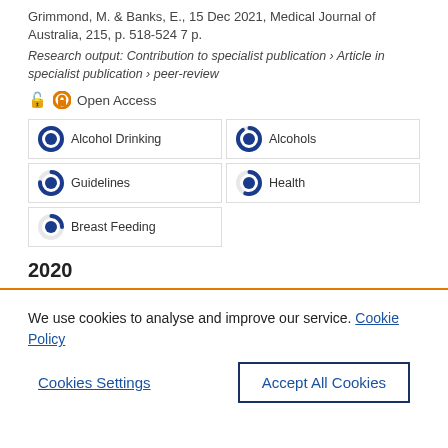Grimmond, M. & Banks, E., 15 Dec 2021, Medical Journal of Australia, 215, p. 518-524 7 p.
Research output: Contribution to specialist publication › Article in specialist publication › peer-review
Open Access
[Figure (infographic): Five keyword topic badges with donut-chart style circle indicators showing relevance percentages: Alcohol Drinking (100%), Alcohols (~90%), Guidelines (~75%), Health (~55%), Breast Feeding (~25%)]
2020
We use cookies to analyse and improve our service. Cookie Policy
Cookies Settings
Accept All Cookies